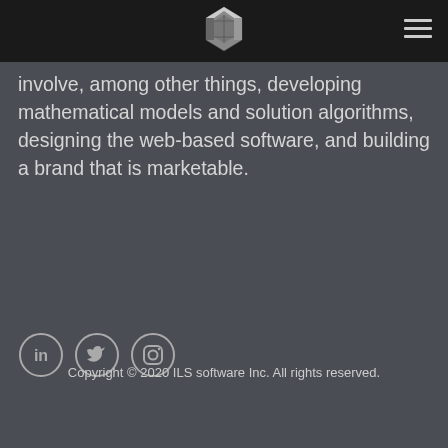[Figure (logo): ILS software Inc. logo - a 3D hexagonal shape in silver/white on black header bar]
involve, among other things, developing mathematical models and solution algorithms, designing the web-based software, and building a brand that is marketable.
[Figure (other): Social media icons: LinkedIn, Twitter, Instagram - circular outlined icons in light gray]
Copyright © 2020 ILS software Inc. All rights reserved.